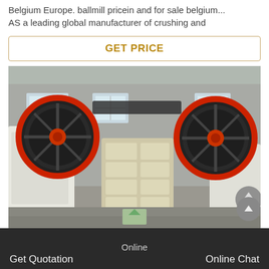Belgium Europe. ballmill pricein and for sale belgium... AS a leading global manufacturer of crushing and
GET PRICE
[Figure (photo): Industrial jaw crusher machine photographed in a factory/warehouse setting. The crusher features two large black and red flywheels on either side, a beige/cream colored central crushing frame with grid-like rectangular chambers, mounted on a base. The factory background shows windows and other equipment.]
Online   Get Quotation   Online Chat